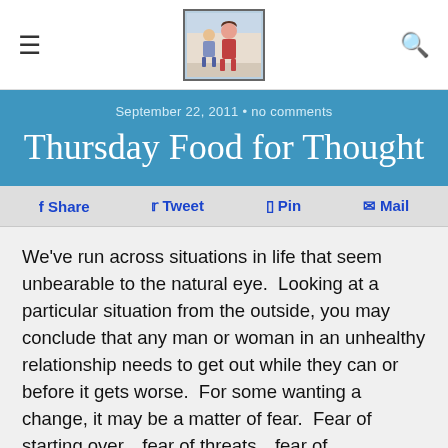≡  [logo image]  🔍
September 22, 2011 · no comments
Thursday Food for Thought
f Share   Tweet   Pin   Mail
We've run across situations in life that seem unbearable to the natural eye.  Looking at a particular situation from the outside, you may conclude that any man or woman in an unhealthy relationship needs to get out while they can or before it gets worse.  For some wanting a change, it may be a matter of fear.  Fear of starting over…fear of threats…fear of loneliness…fear of instability without your partner…fear of the dissolution of a family unit.  Whatever your fears, there's nothing more fearful than being in an